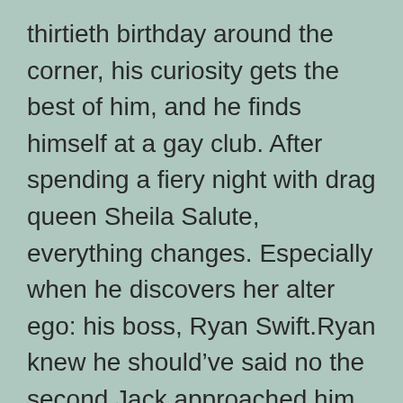thirtieth birthday around the corner, his curiosity gets the best of him, and he finds himself at a gay club. After spending a fiery night with drag queen Sheila Salute, everything changes. Especially when he discovers her alter ego: his boss, Ryan Swift.Ryan knew he should've said no the second Jack approached him. Now he can't stop himself from texting Jack every chance he gets. But Jack won't let him take the wig off during sex, and being Sheila off-stage is wearing thin.
The more time they spend together, the more